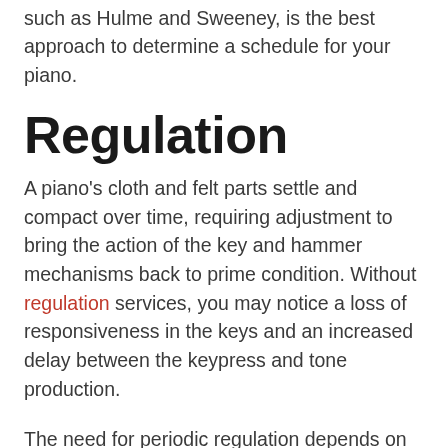months, but consulting with a qualified technician, such as Hulme and Sweeney, is the best approach to determine a schedule for your piano.
Regulation
A piano's cloth and felt parts settle and compact over time, requiring adjustment to bring the action of the key and hammer mechanisms back to prime condition. Without regulation services, you may notice a loss of responsiveness in the keys and an increased delay between the keypress and tone production.
The need for periodic regulation depends on the use and playing demands of the piano and humidity changes of the seasons. An initial regulation should be performed sometime during